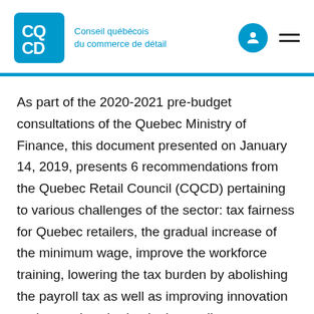Conseil québécois du commerce de détail
As part of the 2020-2021 pre-budget consultations of the Quebec Ministry of Finance, this document presented on January 14, 2019, presents 6 recommendations from the Quebec Retail Council (CQCD) pertaining to various challenges of the sector: tax fairness for Quebec retailers, the gradual increase of the minimum wage, improve the workforce training, lowering the tax burden by abolishing the payroll tax as well as improving innovation and expertise sharing in the retail sector.